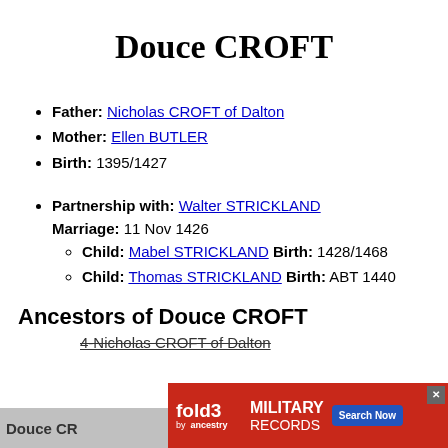Douce CROFT
Father: Nicholas CROFT of Dalton
Mother: Ellen BUTLER
Birth: 1395/1427
Partnership with: Walter STRICKLAND Marriage: 11 Nov 1426
Child: Mabel STRICKLAND Birth: 1428/1468
Child: Thomas STRICKLAND Birth: ABT 1440
Ancestors of Douce CROFT
4-Nicholas CROFT of Dalton
Douce CR...
[Figure (other): fold3 Military Records advertisement banner with Search Now button]